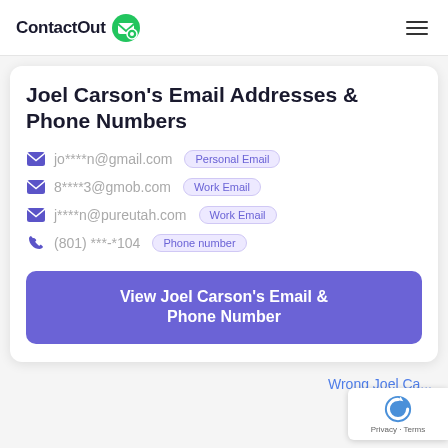ContactOut
Joel Carson's Email Addresses & Phone Numbers
jo****n@gmail.com  Personal Email
8****3@gmob.com  Work Email
j****n@pureutah.com  Work Email
(801) ***-*104  Phone number
View Joel Carson's Email & Phone Number
Wrong Joel Ca...